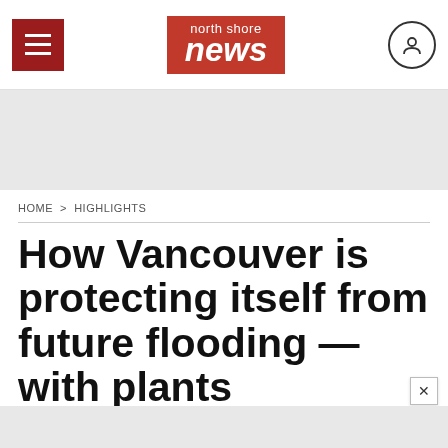north shore news
[Figure (other): Gray advertisement banner area]
HOME > HIGHLIGHTS
How Vancouver is protecting itself from future flooding — with plants